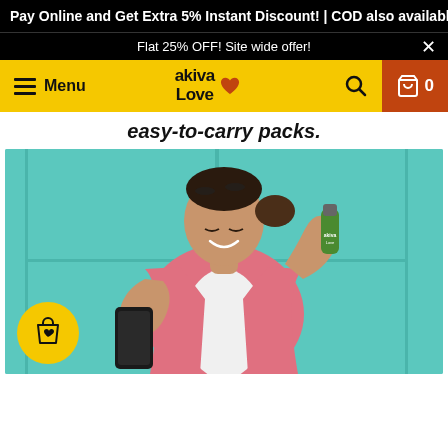Pay Online and Get Extra 5% Instant Discount! | COD also available
Flat 25% OFF! Site wide offer!
Menu | akiva Love | Search | Cart 0
easy-to-carry packs.
[Figure (photo): A smiling woman in a pink blazer holding a green product bottle in one hand and a smartphone in the other, standing against a teal door background]